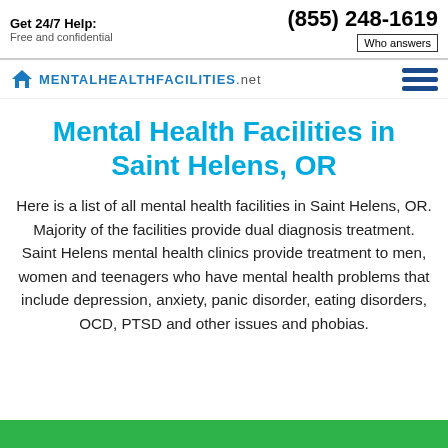Get 24/7 Help: Free and confidential | (855) 248-1619 | Who answers
MentalHealthFacilities.net
Mental Health Facilities in Saint Helens, OR
Here is a list of all mental health facilities in Saint Helens, OR. Majority of the facilities provide dual diagnosis treatment. Saint Helens mental health clinics provide treatment to men, women and teenagers who have mental health problems that include depression, anxiety, panic disorder, eating disorders, OCD, PTSD and other issues and phobias.